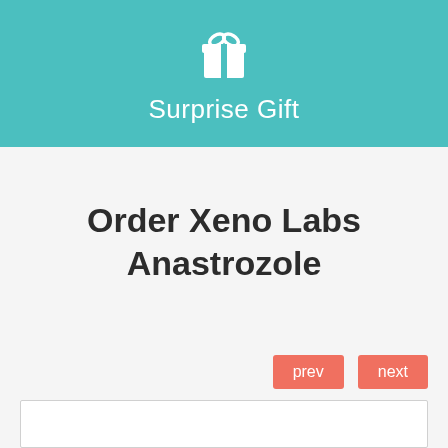[Figure (other): Teal/turquoise header banner with white gift box icon and text 'Surprise Gift']
Order Xeno Labs Anastrozole
prev
next